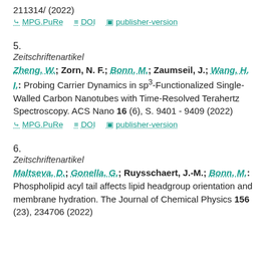211314/ (2022)
MPG.PuRe   DOI   publisher-version
5.
Zeitschriftenartikel
Zheng, W.; Zorn, N. F.; Bonn, M.; Zaumseil, J.; Wang, H. I.: Probing Carrier Dynamics in sp3-Functionalized Single-Walled Carbon Nanotubes with Time-Resolved Terahertz Spectroscopy. ACS Nano 16 (6), S. 9401 - 9409 (2022)
MPG.PuRe   DOI   publisher-version
6.
Zeitschriftenartikel
Maltseva, D.; Gonella, G.; Ruysschaert, J.-M.; Bonn, M.: Phospholipid acyl tail affects lipid headgroup orientation and membrane hydration. The Journal of Chemical Physics 156 (23), 234706 (2022)